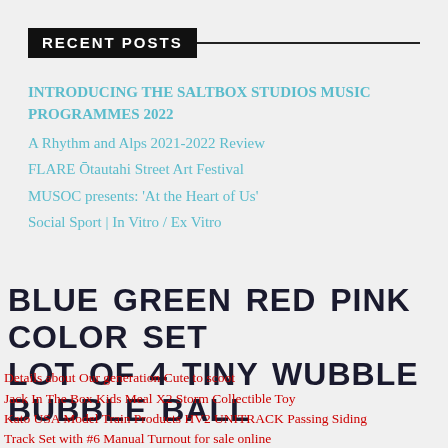RECENT POSTS
INTRODUCING THE SALTBOX STUDIOS MUSIC PROGRAMMES 2022
A Rhythm and Alps 2021-2022 Review
FLARE Ōtautahi Street Art Festival
MUSOC presents: ‘At the Heart of Us’
Social Sport | In Vitro / Ex Vitro
BLUE GREEN RED PINK COLOR SET LOT OF 4 TINY WUBBLE BUBBLE BALL
Details about  Our generation Cute to scoot
Jack In The Box Kids Meal X2 Storm Collectible Toy
Kato USA Model Train Products HV2 UNITRACK Passing Siding Track Set with #6 Manual Turnout for sale online
Details about  PSA 10 Team Rocket's Meowth 18 Wizards Black Star